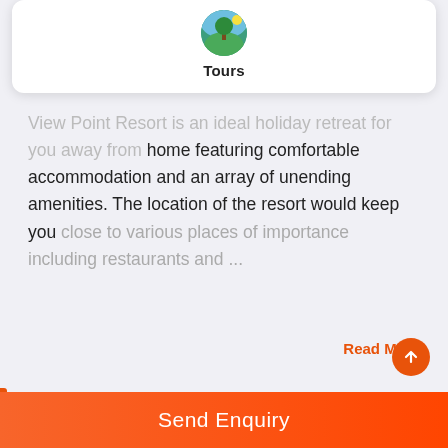[Figure (illustration): Tours icon - circular green/nature icon with text 'Tours' below it, shown in a white card]
View Point Resort is an ideal holiday retreat for you away from home featuring comfortable accommodation and an array of unending amenities. The location of the resort would keep you close to various places of importance including restaurants and ...
Read More
06   Greenery Resort Koh Tao
[Figure (photo): Photo of Greenery Resort Koh Tao - a multi-story building with yellow columns and balconies, surrounded by trees]
Send Enquiry